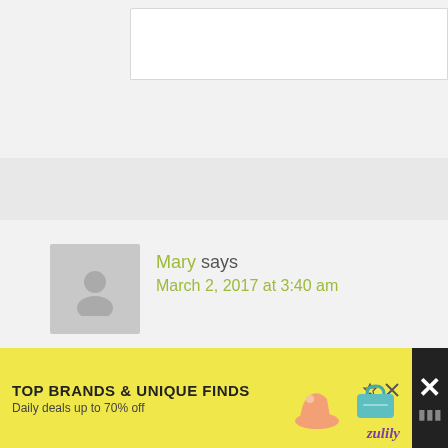[Figure (screenshot): Top portion of a web page comment section showing a partial white input/text box]
Mary says
March 2, 2017 at 3:40 am
Great article! I appreciate that you took t... evidence based tips! Thanks!
Reply
[Figure (screenshot): Advertisement banner: TOP BRANDS & UNIQUE FINDS, Daily deals up to 70% off, zulily brand with shoes and handbag images]